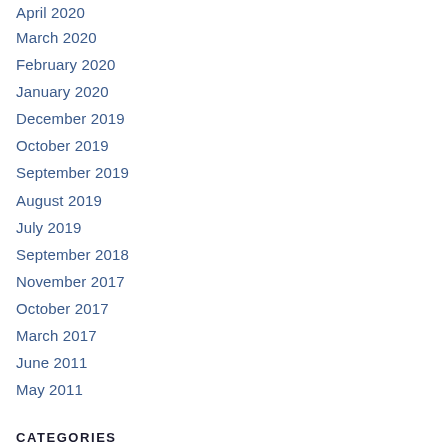April 2020
March 2020
February 2020
January 2020
December 2019
October 2019
September 2019
August 2019
July 2019
September 2018
November 2017
October 2017
March 2017
June 2011
May 2011
CATEGORIES